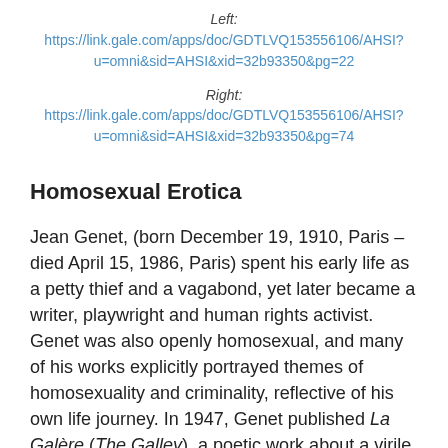Left:
https://link.gale.com/apps/doc/GDTLVQ153556106/AHSI?u=omni&sid=AHSI&xid=32b93350&pg=22
Right:
https://link.gale.com/apps/doc/GDTLVQ153556106/AHSI?u=omni&sid=AHSI&xid=32b93350&pg=74
Homosexual Erotica
Jean Genet, (born December 19, 1910, Paris – died April 15, 1986, Paris) spent his early life as a petty thief and a vagabond, yet later became a writer, playwright and human rights activist. Genet was also openly homosexual, and many of his works explicitly portrayed themes of homosexuality and criminality, reflective of his own life journey. In 1947, Genet published La Galère (The Galley), a poetic work about a virile murderer